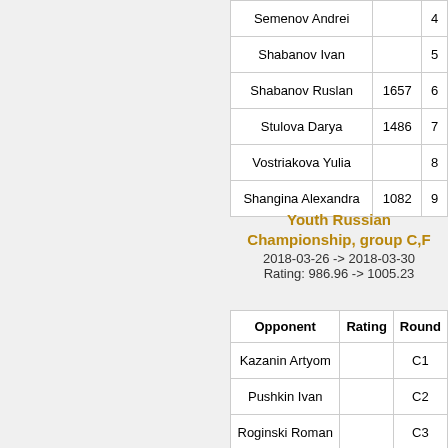| Opponent | Rating | Round |
| --- | --- | --- |
| Semenov Andrei |  | 4 |
| Shabanov Ivan |  | 5 |
| Shabanov Ruslan | 1657 | 6 |
| Stulova Darya | 1486 | 7 |
| Vostriakova Yulia |  | 8 |
| Shangina Alexandra | 1082 | 9 |
Youth Russian Championship, group C,F
2018-03-26 -> 2018-03-30
Rating: 986.96 -> 1005.23
| Opponent | Rating | Round |
| --- | --- | --- |
| Kazanin Artyom |  | C1 |
| Pushkin Ivan |  | C2 |
| Roginski Roman |  | C3 |
| Stoyanov Egor | 1219 | C4 |
| Prokopyev Andrei | 1072 | C5 |
| Noskov Pavel | 979 | C6 |